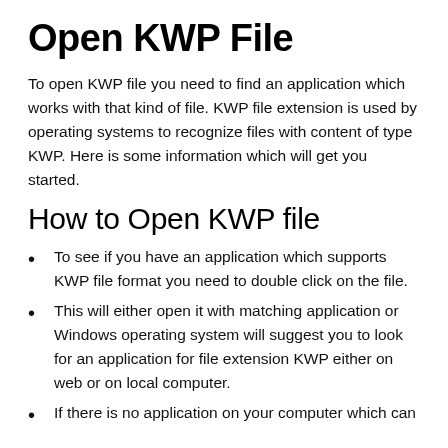Open KWP File
To open KWP file you need to find an application which works with that kind of file. KWP file extension is used by operating systems to recognize files with content of type KWP. Here is some information which will get you started.
How to Open KWP file
To see if you have an application which supports KWP file format you need to double click on the file.
This will either open it with matching application or Windows operating system will suggest you to look for an application for file extension KWP either on web or on local computer.
If there is no application on your computer which can